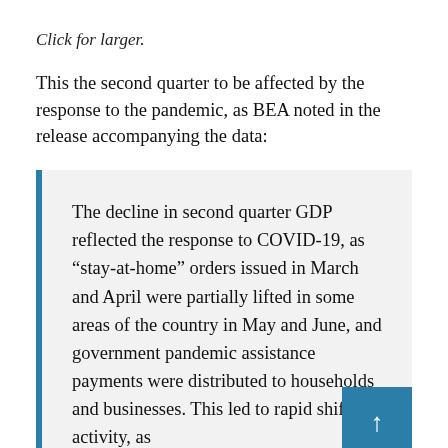Click for larger.
This the second quarter to be affected by the response to the pandemic, as BEA noted in the release accompanying the data:
The decline in second quarter GDP reflected the response to COVID-19, as “stay-at-home” orders issued in March and April were partially lifted in some areas of the country in May and June, and government pandemic assistance payments were distributed to households and businesses. This led to rapid shifts in activity, as